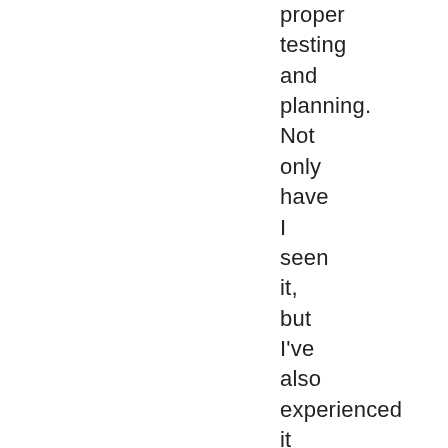proper testing and planning. Not only have I seen it, but I've also experienced it myself. Yes,